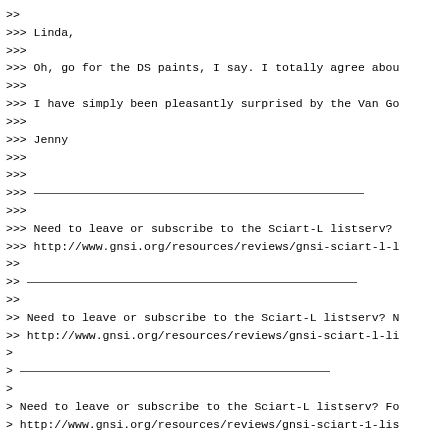>>
>>> Linda,
>>>
>>> Oh, go for the DS paints, I say. I totally agree abou
>>>
>>> I have simply been pleasantly surprised by the Van Go
>>>
>>> Jenny
>>>
>>>
>>>
>>>
>>> Need to leave or subscribe to the Sciart-L listserv?
>>> http://www.gnsi.org/resources/reviews/gnsi-sciart-l-l
>>
>>
>>
>> Need to leave or subscribe to the Sciart-L listserv? N
>> http://www.gnsi.org/resources/reviews/gnsi-sciart-l-li
>
>
>
> Need to leave or subscribe to the Sciart-L listserv? Fo
> http://www.gnsi.org/resources/reviews/gnsi-sciart-1-lis


Need to leave or subscribe to the Sciart-L listserv? Fol
http://www.gnsi.org/resources/reviews/gnsi-sciart-1-lists